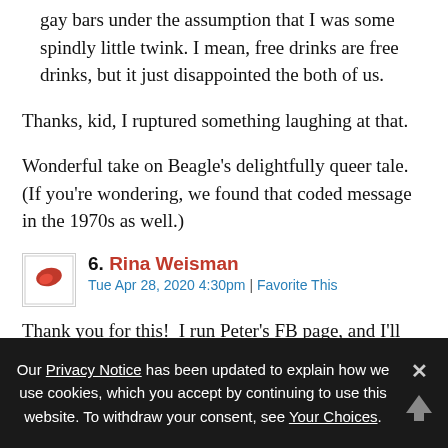gay bars under the assumption that I was some spindly little twink. I mean, free drinks are free drinks, but it just disappointed the both of us.
Thanks, kid, I ruptured something laughing at that.
Wonderful take on Beagle’s delightfully queer tale. (If you’re wondering, we found that coded message in the 1970s as well.)
6. Rina Weisman
Tue Apr 28, 2020 4:30pm | Favorite This
Thank you for this!  I run Peter’s FB page, and I’ll make sure he sees this!
Our Privacy Notice has been updated to explain how we use cookies, which you accept by continuing to use this website. To withdraw your consent, see Your Choices.